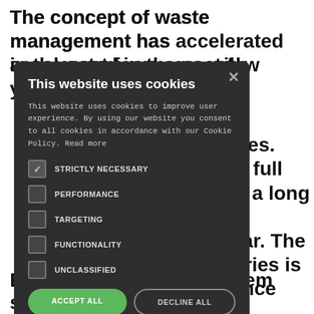The concept of waste management has accelerated in the past few years with the tices. e in full ave a long ce cular. The untries is stance he dearth nd tives. Besides this, the ecosystem suffers from
[Figure (screenshot): Cookie consent modal dialog with dark background showing title 'This website uses cookies', body text about cookie policy, five checkboxes (STRICTLY NECESSARY checked, PERFORMANCE, TARGETING, FUNCTIONALITY, UNCLASSIFIED unchecked), ACCEPT ALL and DECLINE ALL buttons, and a SHOW DETAILS link at the bottom.]